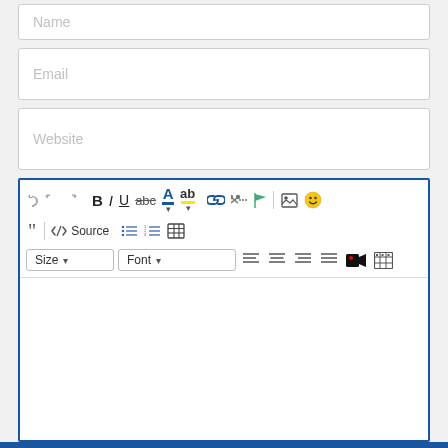[Figure (screenshot): Form input field with placeholder text 'Name' (partially visible at top)]
[Figure (screenshot): Form input field with placeholder text 'Email']
[Figure (screenshot): Form input field with placeholder text 'Website']
[Figure (screenshot): Rich text editor toolbar with undo/redo, bold, italic, underline, strikethrough, font color, highlight, link, unlink, flag, image, emoji buttons; second row with blockquote, source, bullet list, numbered list, table; third row with Size dropdown, Font dropdown, text alignment buttons, video, and code buttons; empty editing area below; blue bar at bottom]